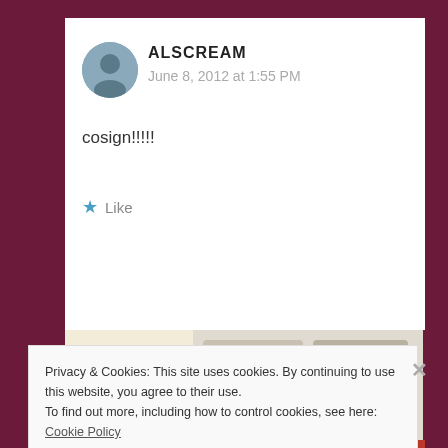ALSCREAM
June 8, 2012 at 1:55 PM
cosign!!!!!
★ Like
[Figure (screenshot): Advertisement banner with 'Explore options' green button and food images on right side]
Privacy & Cookies: This site uses cookies. By continuing to use this website, you agree to their use.
To find out more, including how to control cookies, see here: Cookie Policy
Close and accept